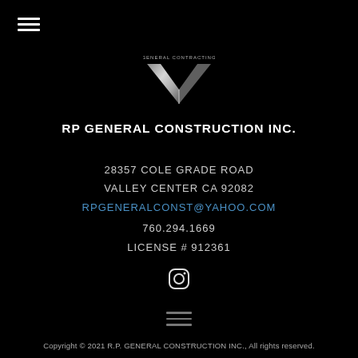[Figure (logo): RP General Construction Inc. logo — a silver/metallic V-shape chevron/wing logo with text above it]
RP GENERAL CONSTRUCTION INC.
28357 COLE GRADE ROAD
VALLEY CENTER CA 92082
RPGENERALCONST@YAHOO.COM
760.294.1669
LICENSE # 912361
[Figure (other): Instagram icon (circle with camera outline)]
Copyright © 2021 R.P. GENERAL CONSTRUCTION INC., All rights reserved.